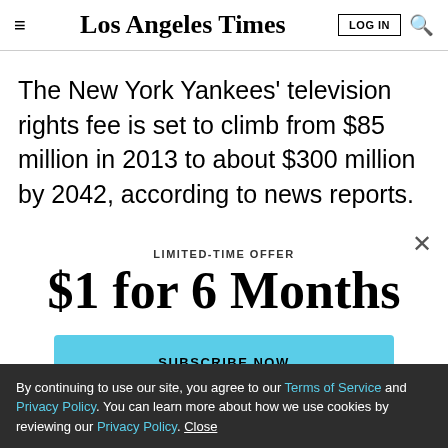Los Angeles Times
The New York Yankees' television rights fee is set to climb from $85 million in 2013 to about $300 million by 2042, according to news reports.
LIMITED-TIME OFFER
$1 for 6 Months
SUBSCRIBE NOW
By continuing to use our site, you agree to our Terms of Service and Privacy Policy. You can learn more about how we use cookies by reviewing our Privacy Policy. Close